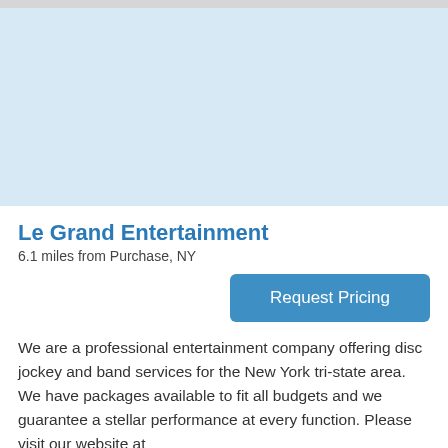[Figure (photo): Light blue placeholder image area at the top of the page]
Le Grand Entertainment
6.1 miles from Purchase, NY
Request Pricing
We are a professional entertainment company offering disc jockey and band services for the New York tri-state area. We have packages available to fit all budgets and we guarantee a stellar performance at every function. Please visit our website at